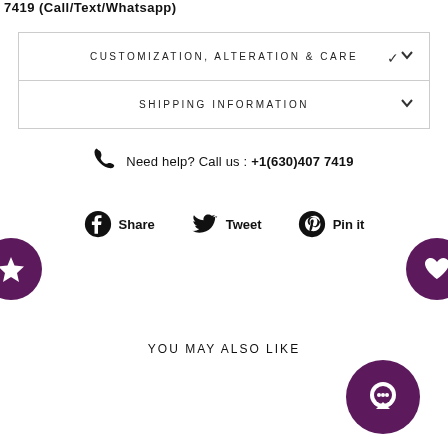7419 (Call/Text/Whatsapp)
CUSTOMIZATION, ALTERATION & CARE
SHIPPING INFORMATION
Need help? Call us : +1(630)407 7419
Share
Tweet
Pin it
YOU MAY ALSO LIKE